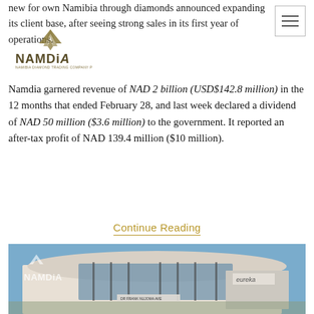new for own Namibia through diamonds announced expanding its client base, after seeing strong sales in its first year of operations.
[Figure (logo): NAMDiA logo - Namibia Diamond Trading Company with stylized wing/chevron mark above text]
Namdia garnered revenue of NAD 2 billion (USD$142.8 million) in the 12 months that ended February 28, and last week declared a dividend of NAD 50 million ($3.6 million) to the government. It reported an after-tax profit of NAD 139.4 million ($10 million).
Continue Reading
[Figure (photo): Modern commercial building with curved roof and glass facade, NAMDiA logo watermark overlay, Eureka signage on building exterior, blue sky background]